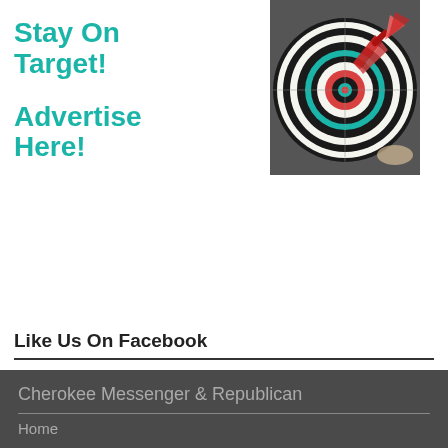[Figure (infographic): Advertisement banner with teal bold text 'Stay On Target! Advertise Here!' on the left and a close-up photo of a dartboard with red darts on the right]
Like Us On Facebook
Cherokee Messenger & Republican
Home